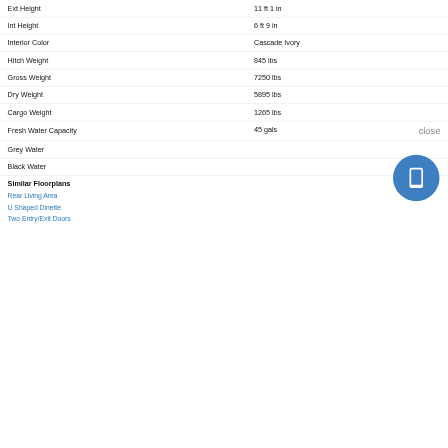| Spec | Value |
| --- | --- |
| Ext Height | 11 ft 1 in |
| Int Height | 6 ft 9 in |
| Interior Color | Cascade Ivory |
| Hitch Weight | 845 lbs |
| Gross Weight | 7250 lbs |
| Dry Weight | 5895 lbs |
| Cargo Weight | 1265 lbs |
| Fresh Water Capacity | 45 gals |
| Grey Water |  |
| Black Water |  |
Similar Floorplans
Rear Living Area
U Shaped Dinette
Two Entry/Exit Doors
[Figure (screenshot): Chat popup with avatar: 'Hi there, have a question? Text us here.']